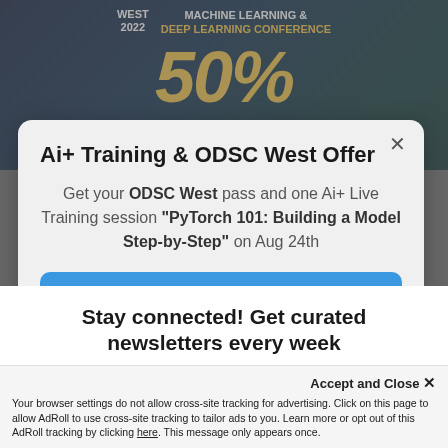[Figure (screenshot): Dark blue background banner for ODSC West 2022 Machine Learning & Deep Learning Conference showing '50%' in large yellow text]
Ai+ Training & ODSC West Offer
Get your ODSC West pass and one Ai+ Live Training session "PyTorch 101: Building a Model Step-by-Step" on Aug 24th
Register now
Stay connected! Get curated newsletters every week
First Name...
Accept and Close ✕
Your browser settings do not allow cross-site tracking for advertising. Click on this page to allow AdRoll to use cross-site tracking to tailor ads to you. Learn more or opt out of this AdRoll tracking by clicking here. This message only appears once.